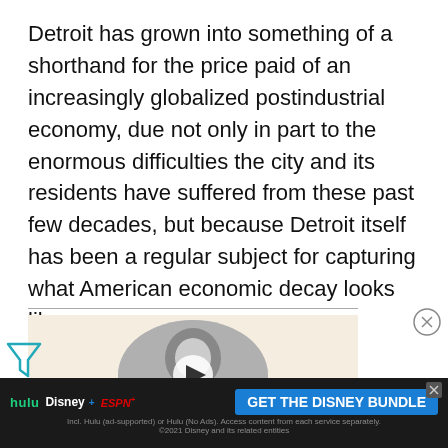Detroit has grown into something of a shorthand for the price paid of an increasingly globalized postindustrial economy, due not only in part to the enormous difficulties the city and its residents have suffered from these past few decades, but because Detroit itself has been a regular subject for capturing what American economic decay looks like.
[Figure (other): A video thumbnail showing a black-and-white photo of a person's face in a circular frame with a play button overlay, on a beige background. There is also a close button (X circle) to the right.]
[Figure (other): Advertisement banner for 'GET THE DISNEY BUNDLE' featuring Hulu, Disney+, and ESPN+ logos on a dark background with fine print about subscription terms.]